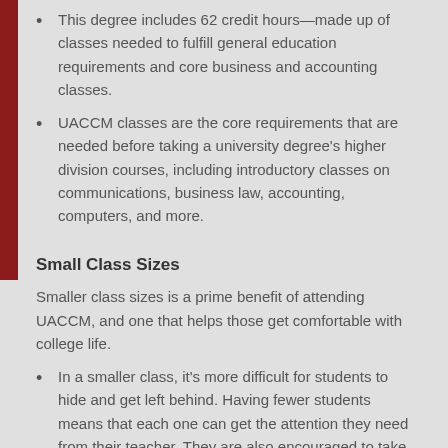This degree includes 62 credit hours—made up of classes needed to fulfill general education requirements and core business and accounting classes.
UACCM classes are the core requirements that are needed before taking a university degree's higher division courses, including introductory classes on communications, business law, accounting, computers, and more.
Small Class Sizes
Smaller class sizes is a prime benefit of attending UACCM, and one that helps those get comfortable with college life.
In a smaller class, it's more difficult for students to hide and get left behind. Having fewer students means that each one can get the attention they need from their teacher. They are also encouraged to take part in